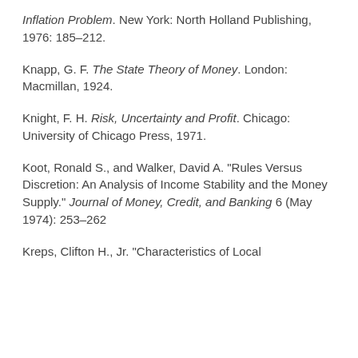Inflation Problem. New York: North Holland Publishing, 1976: 185–212.
Knapp, G. F. The State Theory of Money. London: Macmillan, 1924.
Knight, F. H. Risk, Uncertainty and Profit. Chicago: University of Chicago Press, 1971.
Koot, Ronald S., and Walker, David A. "Rules Versus Discretion: An Analysis of Income Stability and the Money Supply." Journal of Money, Credit, and Banking 6 (May 1974): 253–262
Kreps, Clifton H., Jr. "Characteristics of Local